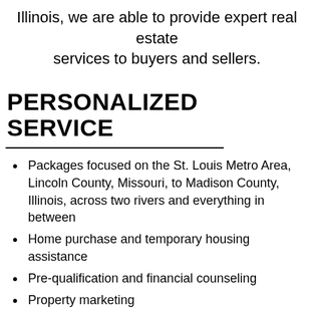Illinois, we are able to provide expert real estate services to buyers and sellers.
PERSONALIZED SERVICE
Packages focused on the St. Louis Metro Area, Lincoln County, Missouri, to Madison County, Illinois, across two rivers and everything in between
Home purchase and temporary housing assistance
Pre-qualification and financial counseling
Property marketing
Discounted rate priority service agreement with national moving companies